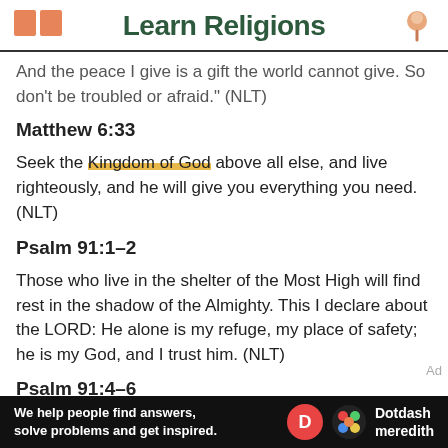Learn Religions
And the peace I give is a gift the world cannot give. So don't be troubled or afraid." (NLT)
Matthew 6:33
Seek the Kingdom of God above all else, and live righteously, and he will give you everything you need. (NLT)
Psalm 91:1–2
Those who live in the shelter of the Most High will find rest in the shadow of the Almighty. This I declare about the LORD: He alone is my refuge, my place of safety; he is my God, and I trust him. (NLT)
Psalm 91:4–6